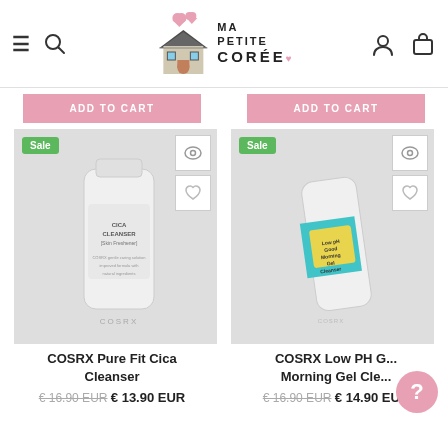[Figure (screenshot): Ma Petite Corée website header with hamburger menu, search icon, illustrated house logo with hearts, brand name text, user icon and cart icon]
ADD TO CART
ADD TO CART
[Figure (photo): COSRX Pure Fit Cica Cleanser white tube on light grey background with Sale badge]
[Figure (photo): COSRX Low PH Good Morning Gel Cleanser white tube with teal and yellow label on light grey background with Sale badge]
COSRX Pure Fit Cica Cleanser
COSRX Low PH Good Morning Gel Cleanser
€ 16.90 EUR  € 13.90 EUR
€ 16.90 EUR  € 14.90 EUR